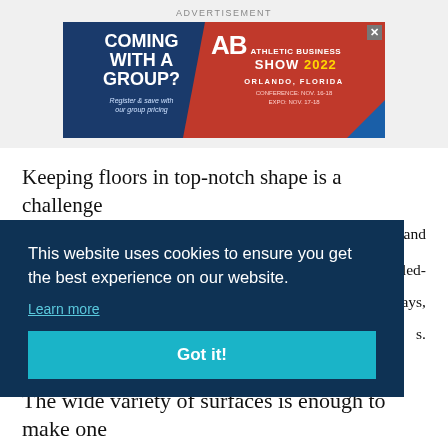ADVERTISEMENT
[Figure (illustration): Athletic Business Show 2022 advertisement banner. Blue left panel reading COMING WITH A GROUP? Register & save with our group pricing. Red right panel with AB Athletic Business Show 2022 logo, Orlando Florida, Conference Nov 16-18, Expo Nov 17-18.]
Keeping floors in top-notch shape is a challenge and
This website uses cookies to ensure you get the best experience on our website. Learn more Got it!
olled- ways, s.
The wide variety of surfaces is enough to make one